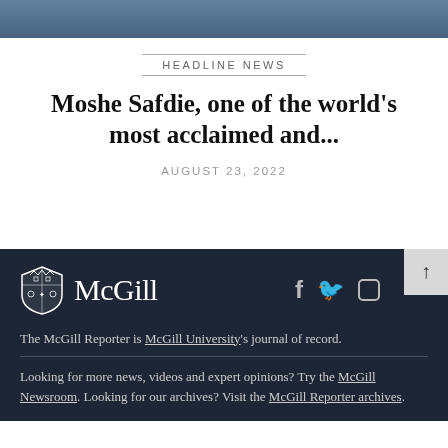[Figure (photo): Partial photo of a person in dark jacket, cropped at top of page]
HEADLINE NEWS
Moshe Safdie, one of the world's most acclaimed and...
AUGUST 23, 2022
[Figure (logo): McGill University shield logo and McGill wordmark in white on dark background, with Facebook, Twitter, and Instagram social media icons]
The McGill Reporter is McGill University's journal of record.
Looking for more news, videos and expert opinions? Try the McGill Newsroom. Looking for our archives? Visit the McGill Reporter archives.